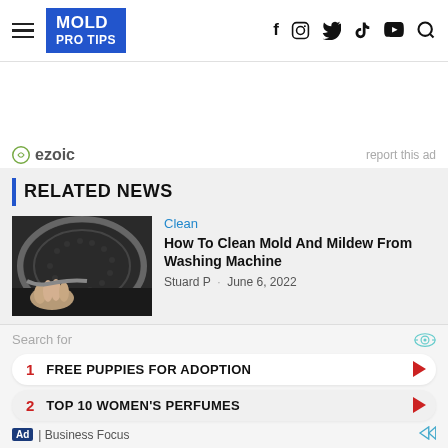MOLD PRO TIPS — navigation header with hamburger, logo, and social icons (f, Instagram, Twitter, YouTube, Search)
[Figure (other): Ezoic advertisement placeholder area with ezoic logo and 'report this ad' link]
RELATED NEWS
[Figure (photo): Photo of a hand cleaning the rubber seal/gasket of a front-loading washing machine drum]
Clean
How To Clean Mold And Mildew From Washing Machine
Stuard P  ·  June 6, 2022
Search for
1  FREE PUPPIES FOR ADOPTION
2  TOP 10 WOMEN'S PERFUMES
Ad | Business Focus